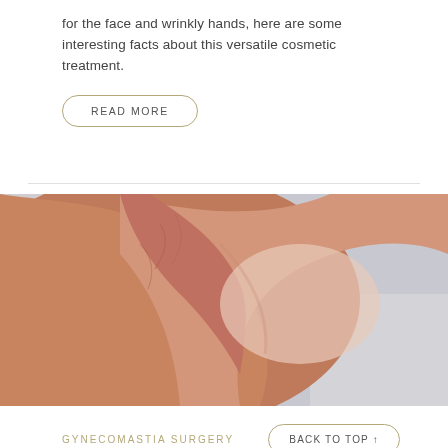for the face and wrinkly hands, here are some interesting facts about this versatile cosmetic treatment.
READ MORE
[Figure (photo): Close-up photograph of human underarm/armpit area showing skin texture, against a light gray background]
BACK TO TOP ↑
GYNECOMASTIA SURGERY
Gynecomastia Surgery: Male